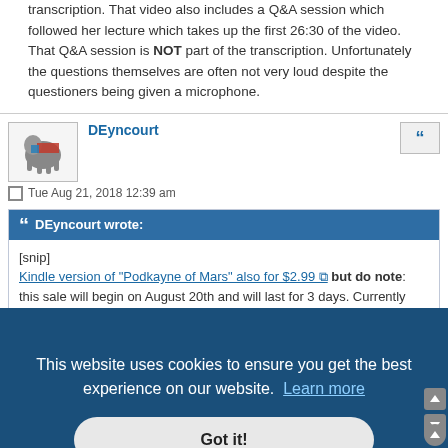transcription. That video also includes a Q&A session which followed her lecture which takes up the first 26:30 of the video. That Q&A session is NOT part of the transcription. Unfortunately the questions themselves are often not very loud despite the questioners being given a microphone.
DEyncourt
Tue Aug 21, 2018 12:39 am
DEyncourt wrote: [snip] Kindle version of "Podkayne of Mars" also for $2.99 but do note: this sale will begin on August 20th and will last for 3 days. Currently that
This website uses cookies to ensure you get the best experience on our website. Learn more
Got it!
NOW.
e-book formats as well (so not just Kindle).